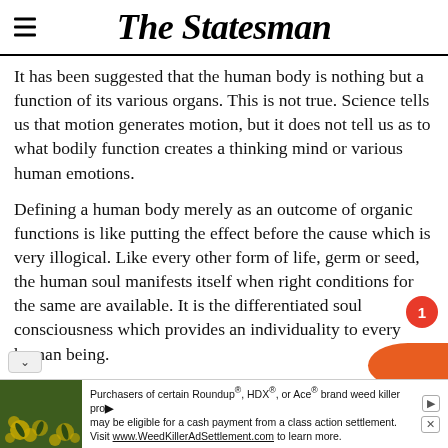The Statesman
It has been suggested that the human body is nothing but a function of its various organs. This is not true. Science tells us that motion generates motion, but it does not tell us as to what bodily function creates a thinking mind or various human emotions.
Defining a human body merely as an outcome of organic functions is like putting the effect before the cause which is very illogical. Like every other form of life, germ or seed, the human soul manifests itself when right conditions for the same are available. It is the differentiated soul consciousness which provides an individuality to every human being.
Those who deny the existence of the soul believe that ...ing could come out of nothing, which is not tr...
[Figure (infographic): Advertisement bar: Purchasers of certain Roundup®, HDX®, or Ace® brand weed killer products may be eligible for a cash payment from a class action settlement. Visit www.WeedKillerAdSettlement.com to learn more.]